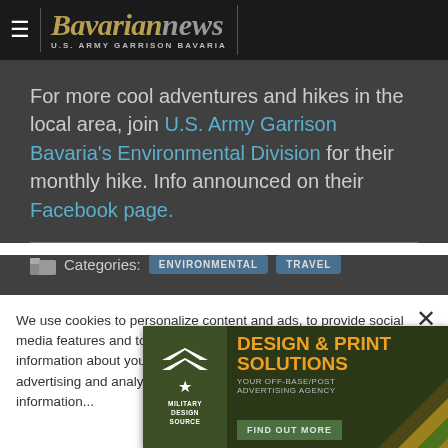Bavarian news — U.S. ARMY GARRISON BAVARIA
For more cool adventures and hikes in the local area, join U.S. Army Garrison Bavaria's Environmental Division for their monthly hike. Info announced on their Facebook page.
Categories: ENVIRONMENTAL  TRAVEL
We use cookies to personalize content and ads, to provide social media features and to analyze our traffic. We also share information about your use of our site with our social media advertising and analytics partners who may combine it with other information...
[Figure (advertisement): Military Design Source — Design & Print Solutions. Your Off-Base/Post Advertising Agency. Find Out More.]